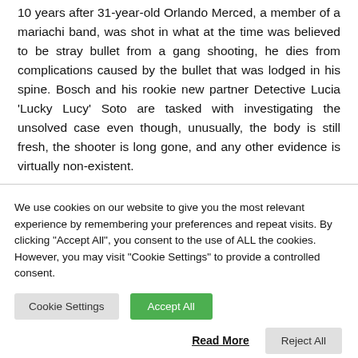10 years after 31-year-old Orlando Merced, a member of a mariachi band, was shot in what at the time was believed to be stray bullet from a gang shooting, he dies from complications caused by the bullet that was lodged in his spine. Bosch and his rookie new partner Detective Lucia 'Lucky Lucy' Soto are tasked with investigating the unsolved case even though, unusually, the body is still fresh, the shooter is long gone, and any other evidence is virtually non-existent.
We use cookies on our website to give you the most relevant experience by remembering your preferences and repeat visits. By clicking "Accept All", you consent to the use of ALL the cookies. However, you may visit "Cookie Settings" to provide a controlled consent.